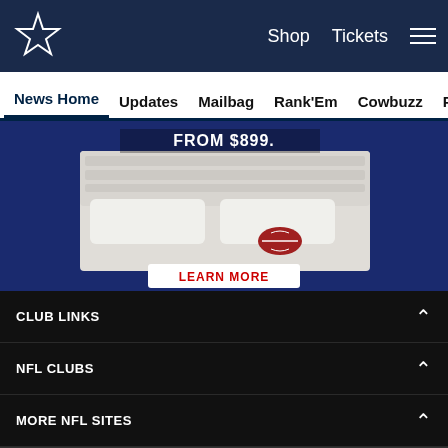Dallas Cowboys website header with logo, Shop, Tickets, menu
News Home | Updates | Mailbag | Rank'Em | Cowbuzz | Past/Pres
[Figure (photo): Advertisement showing a bed with a football on it and text 'FROM $899.' and a red 'LEARN MORE' button]
CLUB LINKS
NFL CLUBS
MORE NFL SITES
[Figure (other): Social media icons: Facebook, Twitter, Email, Link]